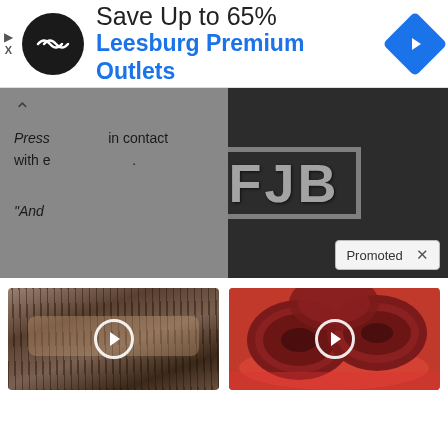[Figure (screenshot): Advertisement banner for Leesburg Premium Outlets with infinite loop logo, 'Save Up to 65%' headline, and blue navigation arrow icon]
[Figure (photo): Dark background article content showing a black t-shirt with 'FJB' text in large block letters, partially overlaid by a grey sidebar with article text fragments: 'Press ... in contact with e...' and '"And']
Promoted X
[Figure (photo): Video thumbnail of person with tea bags on eyes, play button overlay]
Doctor Stunned: This Treatment REVERSES Vision Loss (Watch)
🔥 199
[Figure (photo): Video thumbnail of sliced red beets on a red plate, play button overlay]
Itchy Skin? Signs Your Liver Is In Trouble
🔥 1,893